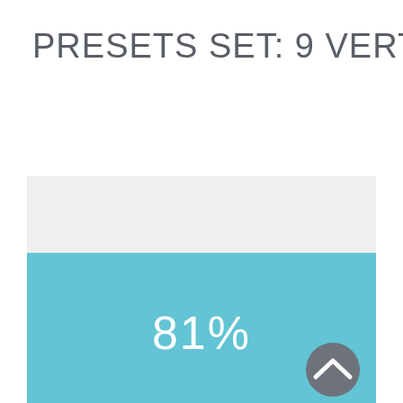PRESETS SET: 9 VERTICAL
[Figure (infographic): A vertical bar/progress visualization showing 81%. The top portion is light gray (empty) and the bottom portion is sky blue (filled), with '81%' displayed in white text centered in the blue area. A gray circular button with an upward chevron arrow appears in the bottom-right corner.]